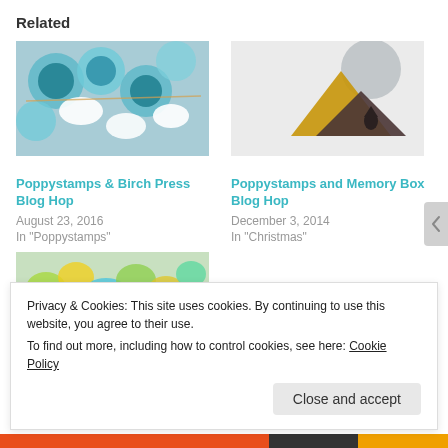Related
[Figure (photo): Close-up photo of craft supplies - teal/blue circular die-cut pieces and white paper shapes]
Poppystamps & Birch Press Blog Hop
August 23, 2016
In "Poppystamps"
[Figure (photo): Minimalist card design with geometric mountain shapes in gold and dark brown, grey circle, on white background]
Poppystamps and Memory Box Blog Hop
December 3, 2014
In "Christmas"
[Figure (photo): Colorful floral craft card with teal, yellow and green flowers on white background]
Privacy & Cookies: This site uses cookies. By continuing to use this website, you agree to their use.
To find out more, including how to control cookies, see here: Cookie Policy
Close and accept